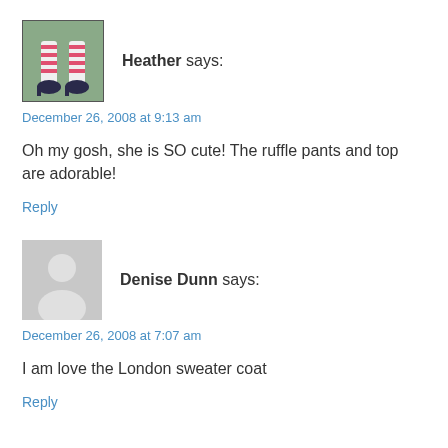[Figure (photo): Avatar photo of Heather showing striped socks and high heels]
Heather says:
December 26, 2008 at 9:13 am
Oh my gosh, she is SO cute! The ruffle pants and top are adorable!
Reply
[Figure (photo): Grey silhouette avatar placeholder for Denise Dunn]
Denise Dunn says:
December 26, 2008 at 7:07 am
I am love the London sweater coat
Reply